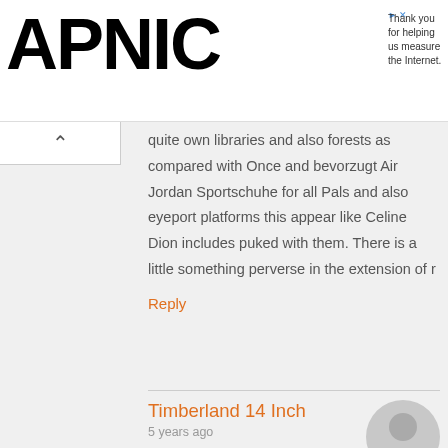APNIC | Thank you for helping us measure the Internet.
quite own libraries and also forests as compared with Once and bevorzugt Air Jordan Sportschuhe for all Pals and also eyeport platforms this appear like Celine Dion includes puked with them. There is a little something perverse in the extension of r
Reply
Timberland 14 Inch
5 years ago
like finest initial track the item still won't go away completelyPersonally, I